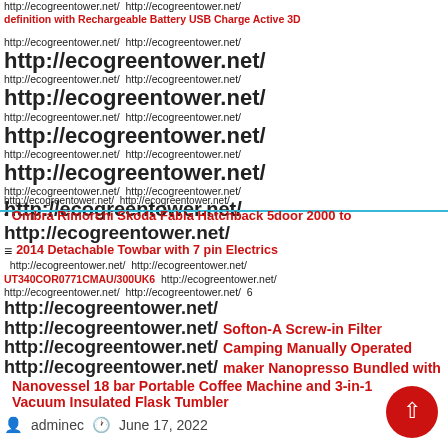http://ecogreentower.net/ http://ecogreentower.net/ definition with Rechargeable Battery USB Charge Active 3D
http://ecogreentower.net/ http://ecogreentower.net/
http://ecogreentower.net/ (big) http://ecogreentower.net/
http://ecogreentower.net/ (big) http://ecogreentower.net/
http://ecogreentower.net/ (big) http://ecogreentower.net/
http://ecogreentower.net/ (big) http://ecogreentower.net/
http://ecogreentower.net/ (big) http://ecogreentower.net/
• Ombra Rimorchi Skoda Fabia Hatchback 5door 2000 to http://ecogreentower.net/
≡ 2014 Detachable Towbar with 7 pin Electrics http://ecogreentower.net/ http://ecogreentower.net/
UT340COR0771CMAU/300UK6 http://ecogreentower.net/
http://ecogreentower.net/ http://ecogreentower.net/ 6
http://ecogreentower.net/
http://ecogreentower.net/ Softon-A Screw-in Filter
http://ecogreentower.net/ Camping Manually Operated
http://ecogreentower.net/ maker Nanopresso Bundled with Nanovessel 18 bar Portable Coffee Machine and 3-in-1 Vacuum Insulated Flask Tumbler
adminec   June 17, 2022